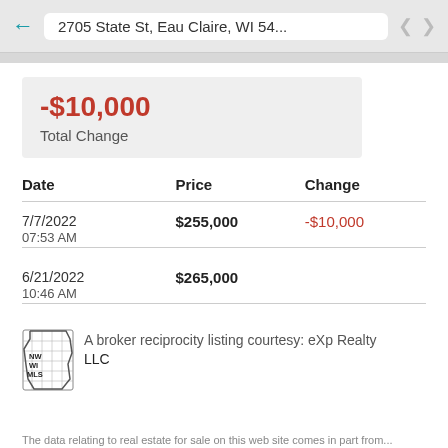2705 State St, Eau Claire, WI 54...
-$10,000
Total Change
| Date | Price | Change |
| --- | --- | --- |
| 7/7/2022
07:53 AM | $255,000 | -$10,000 |
| 6/21/2022
10:46 AM | $265,000 |  |
NW WI MLS  A broker reciprocity listing courtesy: eXp Realty LLC